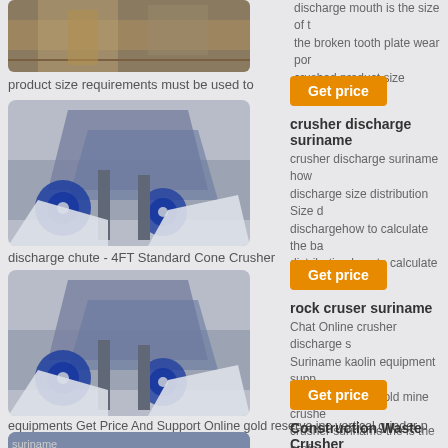[Figure (photo): Partial top image of industrial crushing/mining equipment at outdoor site]
the broken tooth plate wear por crushed product size continues t
product size requirements must be used to
Get price
crusher discharge suriname
crusher discharge suriname how discharge size distribution Size d dischargehow to calculate the ba distribution how to calculate the b
[Figure (photo): Industrial sand washing or screening machine with blue flywheels and conveyor belts]
discharge chute - 4FT Standard Cone Crusher
Get price
rock cruser suriname
Chat Online crusher discharge s Suriname kaolin equipment supp artsclubinstitute gold mine crushe crusher suriname the is the profe
[Figure (photo): Same industrial screening/washing machine with blue flywheels]
equipments Get Price And Support Online gold reserve inc vertical grinder p
Get price
Construction Waste Crusher
[Figure (photo): Partial image showing construction waste crusher with sky background, labeled suriname]